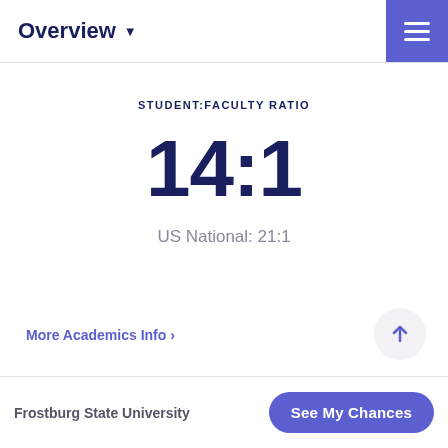Overview
STUDENT:FACULTY RATIO
14:1
US National: 21:1
More Academics Info ›
Frostburg State University · See My Chances